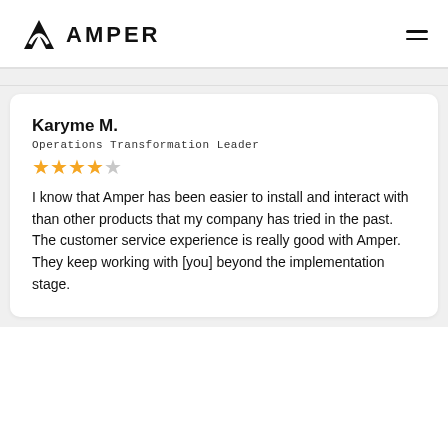AMPER
Karyme M.
Operations Transformation Leader
★★★★☆
I know that Amper has been easier to install and interact with than other products that my company has tried in the past. The customer service experience is really good with Amper. They keep working with [you] beyond the implementation stage.